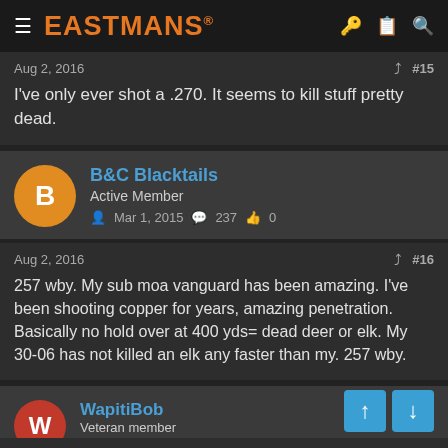EASTMANS
Aug 2, 2016   #15
I've only ever shot a .270. It seems to kill stuff pretty dead.
B&C Blacktails
Active Member
Mar 1, 2015   237   0
Aug 2, 2016   #16
257 wby. My sub moa vanguard has been amazing. I've been shooting copper for years, amazing penetration. Basically no hold over at 400 yds= dead deer or elk. My 30-06 has not killed an elk any faster than my. 257 wby.
WapitiBob
Veteran member